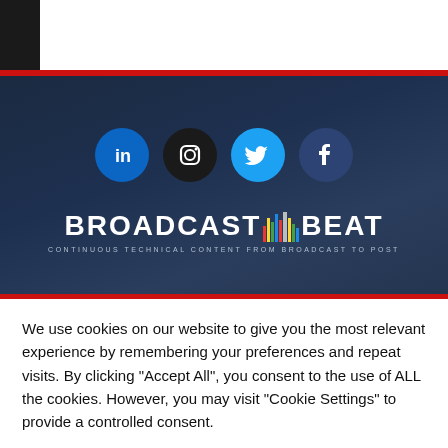[Figure (logo): Broadcast Beat website banner with social media icons (LinkedIn, Instagram, Twitter, Facebook) and the Broadcast Beat logo with tagline: CONTINUOUS TECHNICAL CONTENT FROM BROADCAST TO POST]
We use cookies on our website to give you the most relevant experience by remembering your preferences and repeat visits. By clicking "Accept All", you consent to the use of ALL the cookies. However, you may visit "Cookie Settings" to provide a controlled consent.
Cookie Settings | Accept All